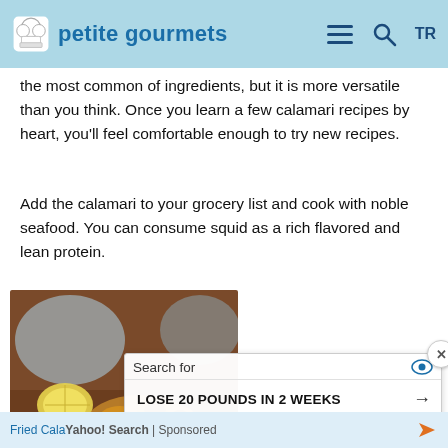petite gourmets
the most common of ingredients, but it is more versatile than you think. Once you learn a few calamari recipes by heart, you'll feel comfortable enough to try new recipes.
Add the calamari to your grocery list and cook with noble seafood. You can consume squid as a rich flavored and lean protein.
[Figure (photo): Fried calamari rings served on a wooden board with a lemon wedge, golden-brown color]
Fried Cala
Search for
LOSE 20 POUNDS IN 2 WEEKS →
OLD FASHIONED RECIPES →
Yahoo! Search | Sponsored